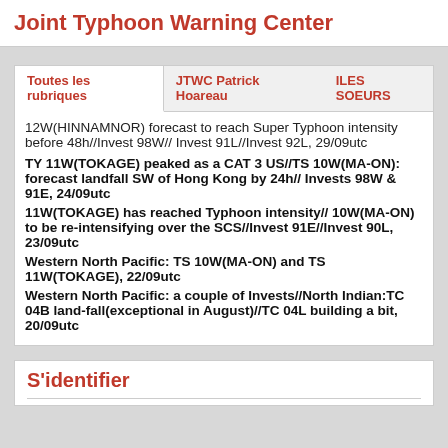Joint Typhoon Warning Center
12W(HINNAMNOR) forecast to reach Super Typhoon intensity before 48h//Invest 98W// Invest 91L//Invest 92L, 29/09utc
TY 11W(TOKAGE) peaked as a CAT 3 US//TS 10W(MA-ON): forecast landfall SW of Hong Kong by 24h// Invests 98W & 91E, 24/09utc
11W(TOKAGE) has reached Typhoon intensity// 10W(MA-ON) to be re-intensifying over the SCS//Invest 91E//Invest 90L, 23/09utc
Western North Pacific: TS 10W(MA-ON) and TS 11W(TOKAGE), 22/09utc
Western North Pacific: a couple of Invests//North Indian:TC 04B land-fall(exceptional in August)//TC 04L building a bit, 20/09utc
S'identifier